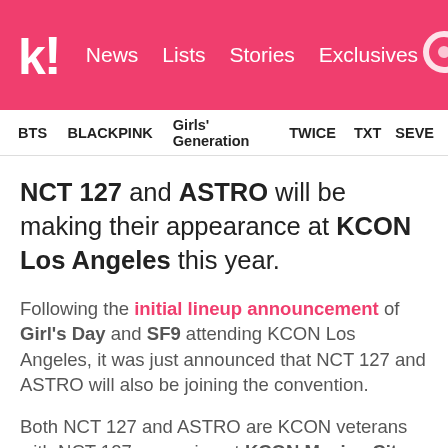koreaboo — News, Lists, Stories, Exclusives
BTS   BLACKPINK   Girls' Generation   TWICE   TXT   SEVE…
NCT 127 and ASTRO will be making their appearance at KCON Los Angeles this year.
Following the initial lineup announcement of Girl's Day and SF9 attending KCON Los Angeles, it was just announced that NCT 127 and ASTRO will also be joining the convention.
Both NCT 127 and ASTRO are KCON veterans with NCT 127 appearing at KCON Mexico City and will appear at KCON New York later this month. ASTRO appeared at KCON Los Angeles 2016, KCON Mexico City, and KCON Japan.